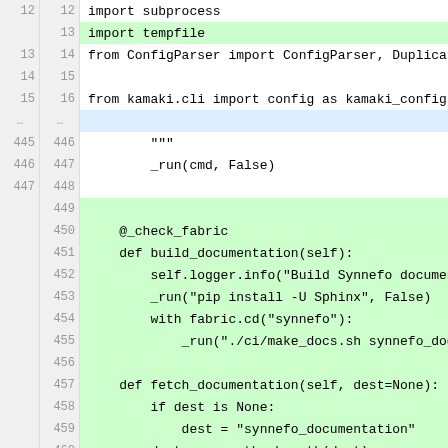[Figure (screenshot): Code diff view showing Python source file with line numbers (old and new), green highlighted added lines, blue highlighted context, and white/gray unchanged lines. Lines 12-16 at top, ellipsis, then lines 445-465 showing build_documentation and fetch_documentation methods.]